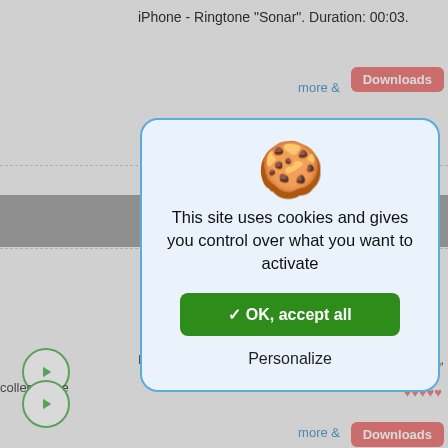iPhone - Ringtone "Sonar". Duration: 00:03.
more &
Downloads
[Figure (screenshot): Cookie consent dialog overlay on a ringtone download website. The dialog has a cookie-with-headphones emoji icon, text reading 'This site uses cookies and gives you control over what you want to activate', a green 'OK, accept all' button with checkmark, and a 'Personalize' text link. Background shows partial website content with play buttons, heart icons, and pink 'Downloads' buttons.]
This site uses cookies and gives you control over what you want to activate
✓ OK, accept all
Personalize